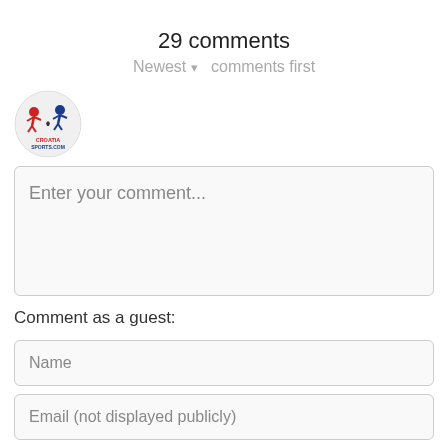29 comments
Newest ▾ comments first
[Figure (logo): CroatiaSports.com logo — red and blue figures with soccer ball, text CROATIA SPORTS.COM]
Enter your comment...
Comment as a guest:
Name
Email (not displayed publicly)